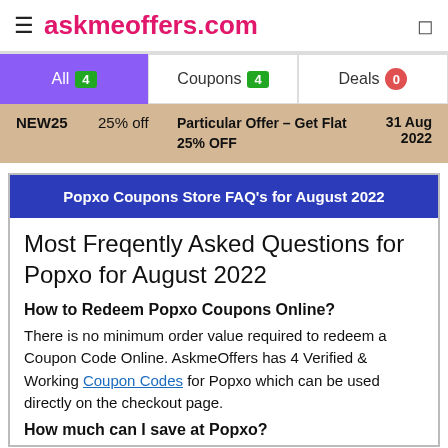askmeoffers.com
| All 4 | Coupons 4 | Deals 0 |
| --- | --- | --- |
| NEW25 | 25% off | Particular Offer – Get Flat 25% OFF | 31 Aug 2022 |
| --- | --- | --- | --- |
Popxo Coupons Store FAQ's for August 2022
Most Freqently Asked Questions for Popxo for August 2022
How to Redeem Popxo Coupons Online?
There is no minimum order value required to redeem a Coupon Code Online. AskmeOffers has 4 Verified & Working Coupon Codes for Popxo which can be used directly on the checkout page.
How much can I save at Popxo?